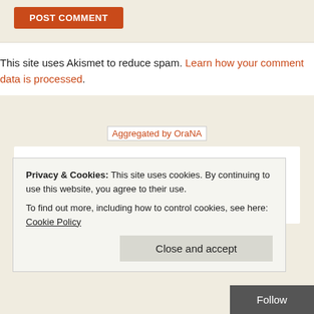[Figure (other): Orange/red 'Post Comment' button at top left]
This site uses Akismet to reduce spam. Learn how your comment data is processed.
[Figure (other): Aggregated by OraNA badge image placeholder]
[Figure (logo): Oracle ACE Alumnus logo with black droplet/A icon, vertical divider, red ORACLE text with registered trademark, and italic ACE Alumnus text]
Privacy & Cookies: This site uses cookies. By continuing to use this website, you agree to their use. To find out more, including how to control cookies, see here: Cookie Policy
[Figure (other): Close and accept button and Follow button at bottom]